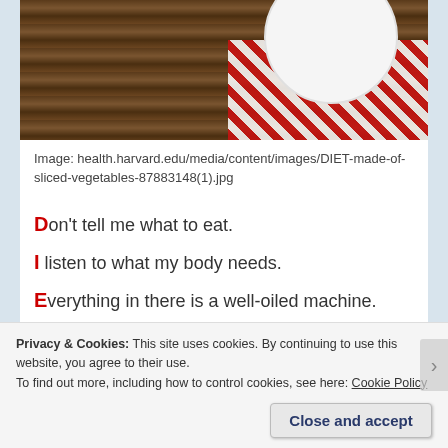[Figure (photo): Photo of a white plate on a dark wooden table with a red and white checkered tablecloth in the background.]
Image: health.harvard.edu/media/content/images/DIET-made-of-sliced-vegetables-87883148(1).jpg
Don't tell me what to eat.
I listen to what my body needs.
Everything in there is a well-oiled machine.
That's the reason I consume all the French fries I can.
Privacy & Cookies: This site uses cookies. By continuing to use this website, you agree to their use.
To find out more, including how to control cookies, see here: Cookie Policy